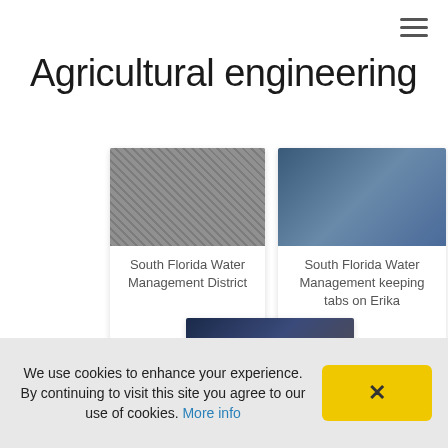Agricultural engineering
[Figure (screenshot): Thumbnail image for South Florida Water Management District article]
South Florida Water Management District
[Figure (screenshot): Thumbnail image for South Florida Water Management keeping tabs on Erika article]
South Florida Water Management keeping tabs on Erika
[Figure (screenshot): Video thumbnail with play button for Layoffs at South Florida Water Management]
Layoffs at South Florida Water Management
We use cookies to enhance your experience. By continuing to visit this site you agree to our use of cookies. More info